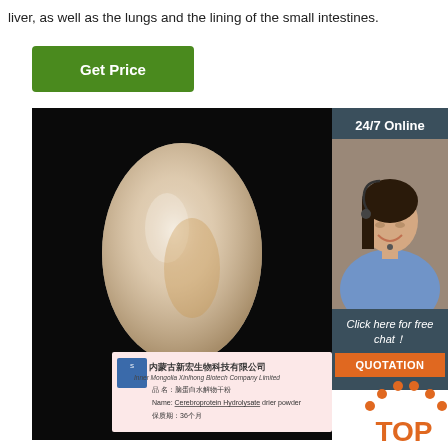liver, as well as the lungs and the lining of the small intestines.
[Figure (other): Green 'Get Price' button]
[Figure (photo): Product photo showing a cream/ivory egg-shaped object on black background, with a product label card from Inner Mongolia Xinlhong Biotech Company Limited showing Chinese text and 'Cerebroprotein Hydrolysate drier powder']
[Figure (other): 24/7 Online sidebar with customer service representative photo, 'Click here for free chat!' text, and orange QUOTATION button]
[Figure (other): Orange TOP badge in bottom right corner]